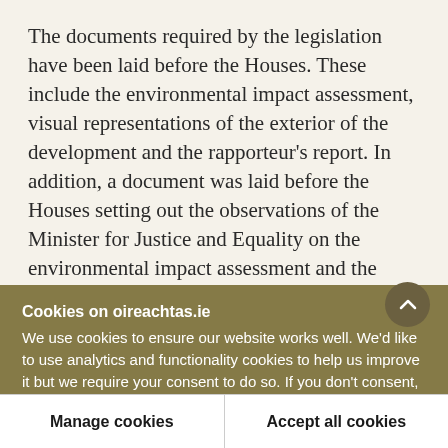The documents required by the legislation have been laid before the Houses. These include the environmental impact assessment, visual representations of the exterior of the development and the rapporteur's report. In addition, a document was laid before the Houses setting out the observations of the Minister for Justice and Equality on the environmental impact assessment and the rapporteur's report. The resolution approved by the Dáil and Seanad on Tuesday, 18 June is the consent
Cookies on oireachtas.ie
We use cookies to ensure our website works well. We'd like to use analytics and functionality cookies to help us improve it but we require your consent to do so. If you don't consent, only necessary cookies will be used. Read more about our cookies
Manage cookies
Accept all cookies